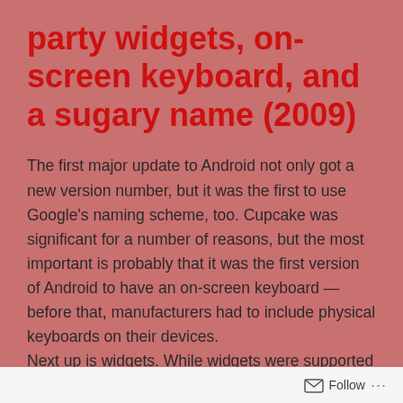party widgets, on-screen keyboard, and a sugary name (2009)
The first major update to Android not only got a new version number, but it was the first to use Google's naming scheme, too. Cupcake was significant for a number of reasons, but the most important is probably that it was the first version of Android to have an on-screen keyboard — before that, manufacturers had to include physical keyboards on their devices.
Next up is widgets. While widgets were supported in earlier versions of Android, third-party developers could't use them in place of their first time with
Follow